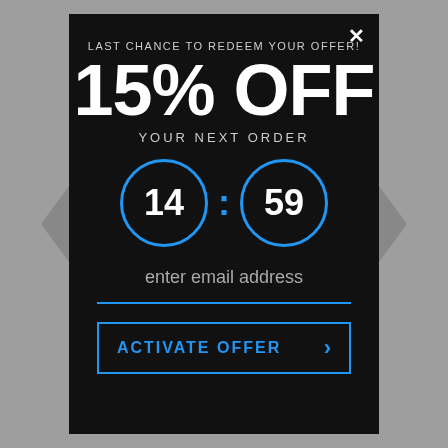LAST CHANCE TO REDEEM YOUR OFFER!
15% OFF
YOUR NEXT ORDER
[Figure (infographic): Countdown timer showing 14:59 with two circular blue-bordered dials]
enter email address
ACTIVATE OFFER